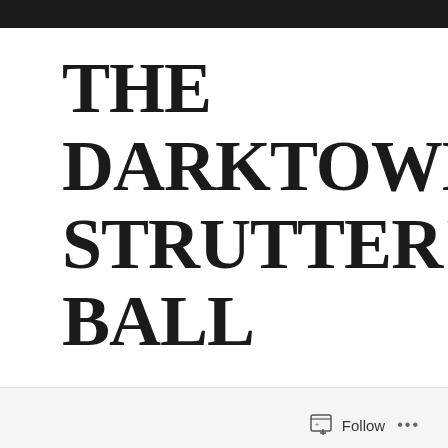THE DARKTOWN STRUTTER'S BALL
SEPTEMBER 13, 2016 / KEN FINTON
Follow